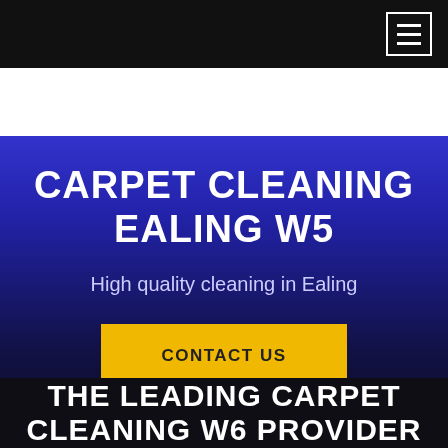[Figure (screenshot): Navigation bar with hamburger menu icon (three horizontal lines) on a dark/black background, positioned top-right]
CARPET CLEANING EALING W5
High quality cleaning in Ealing
CONTACT US
THE LEADING CARPET CLEANING W6 PROVIDER